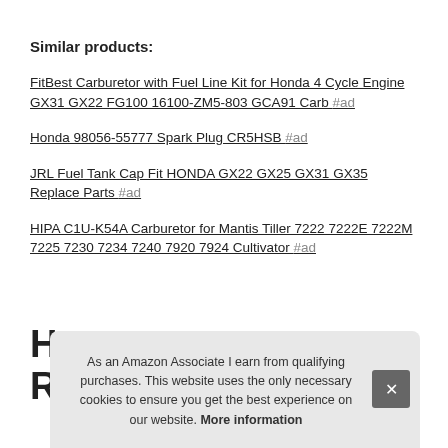Similar products:
FitBest Carburetor with Fuel Line Kit for Honda 4 Cycle Engine GX31 GX22 FG100 16100-ZM5-803 GCA91 Carb #ad
Honda 98056-55777 Spark Plug CR5HSB #ad
JRL Fuel Tank Cap Fit HONDA GX22 GX25 GX31 GX35 Replace Parts #ad
HIPA C1U-K54A Carburetor for Mantis Tiller 7222 7222E 7222M 7225 7230 7234 7240 7920 7924 Cultivator #ad
As an Amazon Associate I earn from qualifying purchases. This website uses the only necessary cookies to ensure you get the best experience on our website. More information